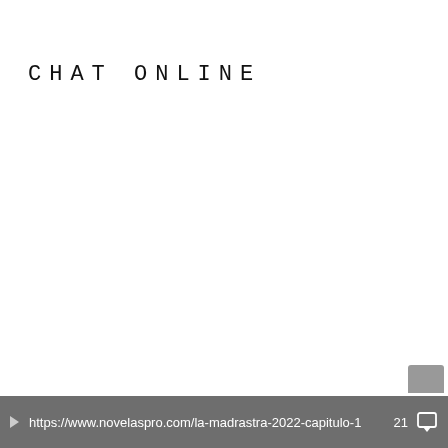CHAT ONLINE
https://www.novelaspro.com/la-madrastra-2022-capitulo-1  21